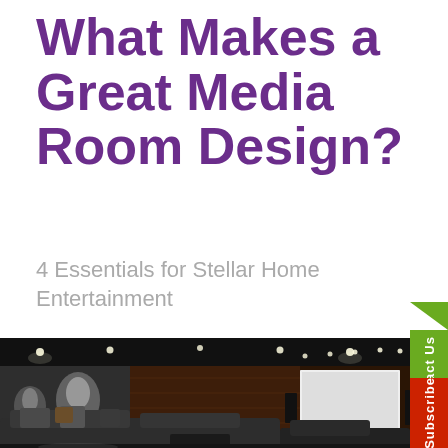What Makes a Great Media Room Design?
4 Essentials for Stellar Home Entertainment
[Figure (photo): Interior photo of a luxury home media room / home theater with dark ceiling with recessed spotlights, dark wood paneled walls with wall sconces, a large white projection screen on the right wall, dark upholstered sofas and seating in the foreground, and a dark plush carpet.]